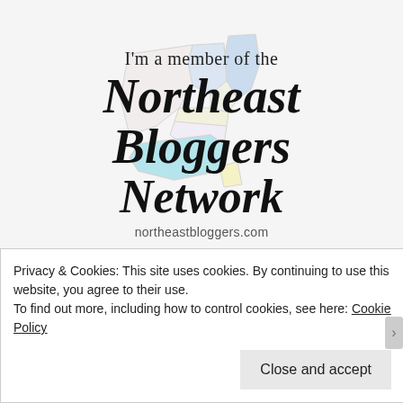[Figure (logo): Northeast Bloggers Network logo with colorful map of northeastern US states in background. Text reads: I'm a member of the Northeast Bloggers Network. northeastbloggers.com]
Privacy & Cookies: This site uses cookies. By continuing to use this website, you agree to their use.
To find out more, including how to control cookies, see here: Cookie Policy
Close and accept